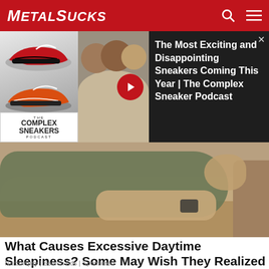MetalSucks
[Figure (screenshot): Advertisement banner for The Complex Sneakers Podcast showing sneaker images on left, three men in a podcast studio in center, and text overlay on dark right panel: 'The Most Exciting and Disappointing Sneakers Coming This Year | The Complex Sneaker Podcast']
[Figure (photo): Person sleeping on a beige/tan couch, lying on their side wearing a dark olive/green shirt]
What Causes Excessive Daytime Sleepiness? Some May Wish They Realized Sooner
Narcolepsy | Search Ads | Sponsored